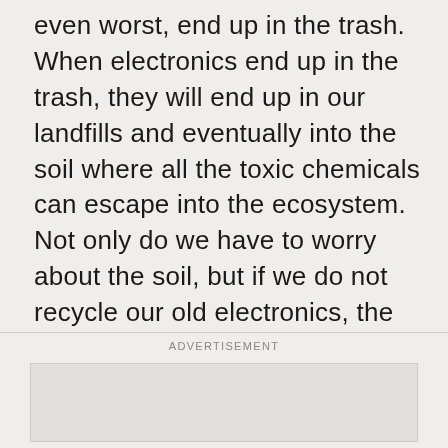even worst, end up in the trash.  When electronics end up in the trash, they will end up in our landfills and eventually into the soil where all the toxic chemicals can escape into the ecosystem.  Not only do we have to worry about the soil, but if we do not recycle our old electronics, the metals and materials inside of our phones will have to be newly manufactured, taking up lots of energy and creating carbon emissions that end up in our atmosphere.  Here is how to recycle your cell phone and some things you may want to consider.
ADVERTISEMENT